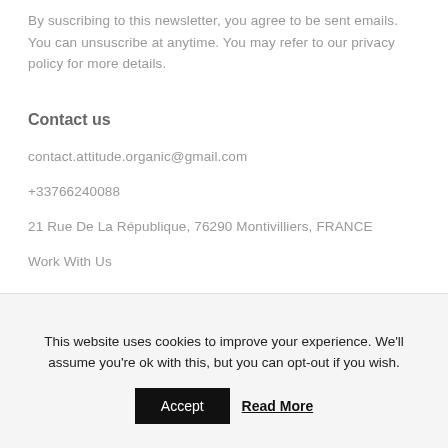By suscribing to this newsletter, you agree to be sent emails. You can unsuscribe at anytime. You may refer to our privacy policy for more details.
Contact us
contact.attitude.organic@gmail.com
+33766240088
21 Rue De La République, 76290 Montivilliers, FRANCE
Work With Us
This website uses cookies to improve your experience. We'll assume you're ok with this, but you can opt-out if you wish.
Accept
Read More